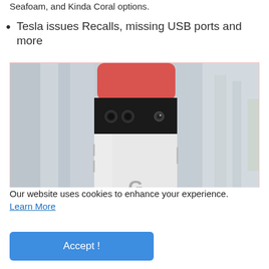Seafoam, and Kinda Coral options.
Tesla issues Recalls, missing USB ports and more
[Figure (photo): Google Pixel 6 smartphone held upright, showing the back with a coral/red and black camera bar and Google G logo, with a blurred outdoor background.]
Our website uses cookies to enhance your experience. Learn More
Accept !